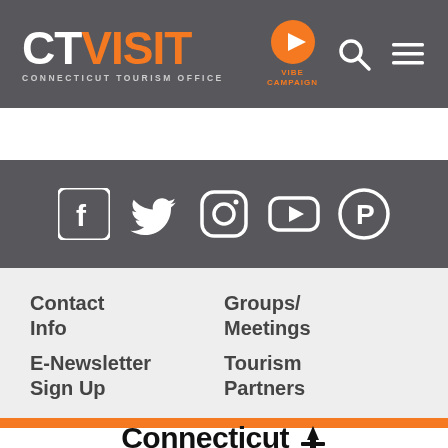[Figure (logo): CTVisit Connecticut Tourism Office logo — CT in white, VISIT in orange, subtitle in light gray]
[Figure (logo): VIBE CAMPAIGN orange play button icon with label]
[Figure (infographic): Social media icons bar: Facebook, Twitter, Instagram, YouTube, Pinterest in white on dark gray background]
Contact Info
Groups/
Meetings
E-Newsletter Sign Up
Tourism Partners
[Figure (logo): Connecticut state logo text in black bold font]